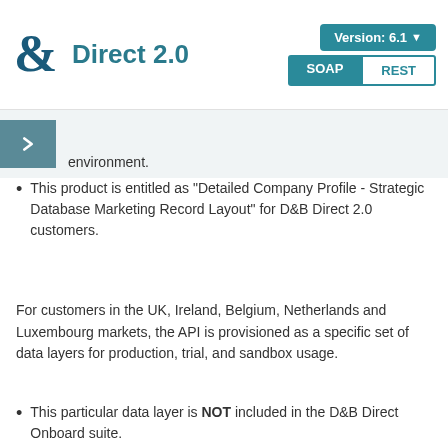D&B Direct 2.0 — Version: 6.1 — SOAP / REST
environment.
This product is entitled as "Detailed Company Profile - Strategic Database Marketing Record Layout" for D&B Direct 2.0 customers.
For customers in the UK, Ireland, Belgium, Netherlands and Luxembourg markets, the API is provisioned as a specific set of data layers for production, trial, and sandbox usage.
This particular data layer is NOT included in the D&B Direct Onboard suite.
Specification
[Figure (screenshot): Dark code block showing Sample Request (DCP_SDMR) with XML SOAP envelope code. First visible lines: <soapenv:Envelope xmlns:fir="http://services.dnb.com/Firmographic...", <soapenv:Header>, <wsse:Security soapenv:mustUnderstand="1" wsu:Id="Id:00013..."]